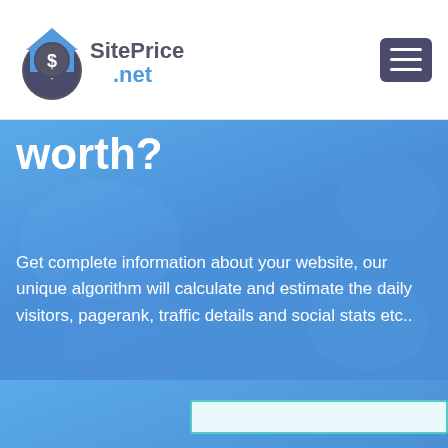SitePrice.net navigation bar with logo and hamburger menu
worth?
Get complete information about your website, our unique algorithm will calculate and estimate the daily visitors, pagerank, traffic details and social stats etc..